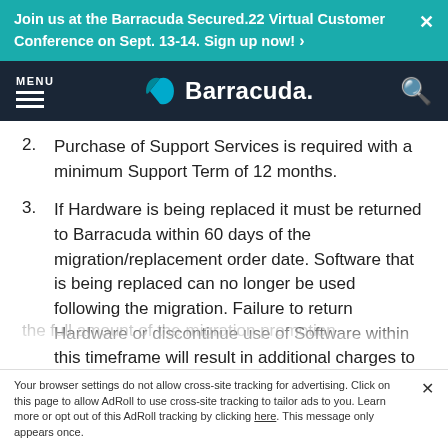Join us at the Barracuda Secured.22 Virtual Customer Conference on Sept. 13-14. Sign up now! ›
MENU | Barracuda | Search
2. Purchase of Support Services is required with a minimum Support Term of 12 months.
3. If Hardware is being replaced it must be returned to Barracuda within 60 days of the migration/replacement order date. Software that is being replaced can no longer be used following the migration. Failure to return Hardware or discontinue use of Software within this timeframe will result in additional charges to the Customer equal to the full amount of the migration promotion
Your browser settings do not allow cross-site tracking for advertising. Click on this page to allow AdRoll to use cross-site tracking to tailor ads to you. Learn more or opt out of this AdRoll tracking by clicking here. This message only appears once.